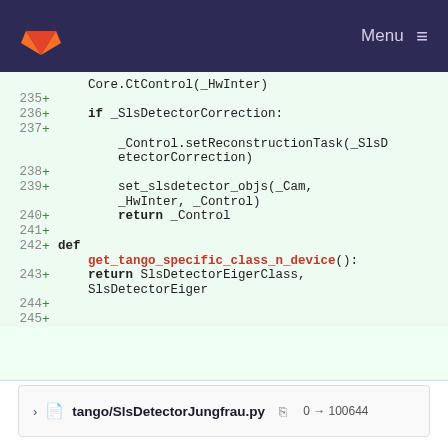GitLab navigation bar with logo and Menu
[Figure (screenshot): Code diff view showing Python code lines 235-245 with additions marked by + signs on green background. Lines include if _SlsDetectorCorrection:, _Control.setReconstructionTask(_SlsDetectorCorrection), set_slsdetector_objs(_Cam, _HwInter, _Control), return _Control, def get_tango_specific_class_n_device():, return SlsDetectorEigerClass, SlsDetectorEiger]
tango/SlsDetectorJungfrau.py  0 → 100644